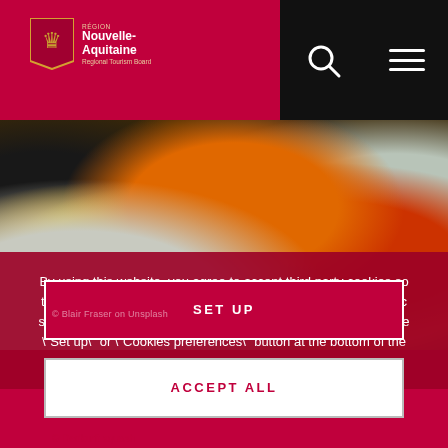[Figure (logo): Région Nouvelle-Aquitaine logo with shield and text]
[Figure (photo): Colorful assortment of squashes and pumpkins — orange, yellow, grey, dark green varieties]
By using this website, you agree to accept third party cookies so that we can offer you videos, share buttons, and carry out traffic statistics. To learn more or change your preferences, click on the "Set up" or "Cookies preferences" button at the bottom of the page. To learn more about cookies, visit our Cookies policy.
SET UP
ACCEPT ALL
© Blair Fraser on Unsplash
© Redkurft squash